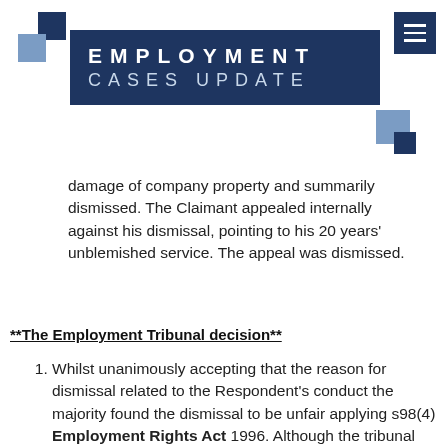[Figure (logo): Employment Cases Update logo with dark navy and light blue squares and title banner]
damage of company property and summarily dismissed. The Claimant appealed internally against his dismissal, pointing to his 20 years' unblemished service. The appeal was dismissed.
**The Employment Tribunal decision**
Whilst unanimously accepting that the reason for dismissal related to the Respondent's conduct the majority found the dismissal to be unfair applying s98(4) Employment Rights Act 1996. Although the tribunal found that any procedural